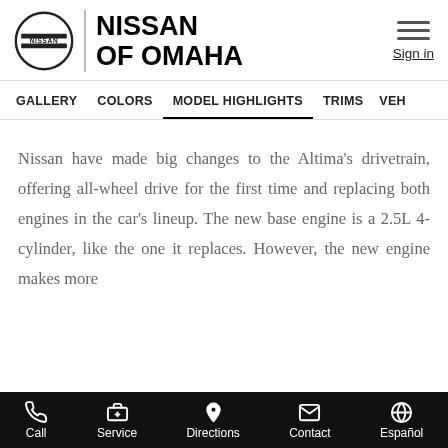[Figure (logo): Nissan of Omaha dealership logo with Nissan circular logo and dealer name in bold uppercase text]
GALLERY  COLORS  MODEL HIGHLIGHTS  TRIMS  VEH...
Nissan have made big changes to the Altima's drivetrain, offering all-wheel drive for the first time and replacing both engines in the car's lineup. The new base engine is a 2.5L 4-cylinder, like the one it replaces. However, the new engine makes more
Call  Service  Directions  Contact  Español